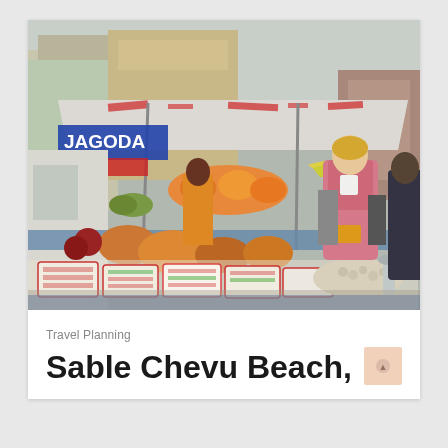[Figure (photo): Outdoor market scene showing a woman in a pink winter jacket browsing produce at a fruit and vegetable stand with a large white canopy tent. Sign reads 'JAGODA'. Various fruits, vegetables, and packaged goods are displayed on tables. Other shoppers and market stalls visible in background.]
Travel Planning
Sable Chevu Beach,